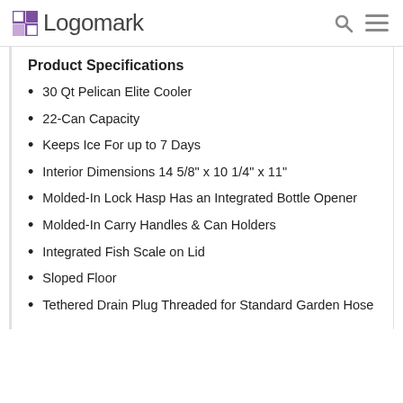Logomark
Product Specifications
30 Qt Pelican Elite Cooler
22-Can Capacity
Keeps Ice For up to 7 Days
Interior Dimensions 14 5/8" x 10 1/4" x 11"
Molded-In Lock Hasp Has an Integrated Bottle Opener
Molded-In Carry Handles & Can Holders
Integrated Fish Scale on Lid
Sloped Floor
Tethered Drain Plug Threaded for Standard Garden Hose